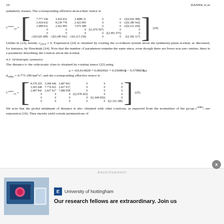10    DANEK et al
symmetry classes. The corresponding effective monoclinic tensor is
Unlike in (14), herein, c2313 = 0. Expression (24) is obtained by rotating the coordinate system about the symmetry-plane normal, as discussed, for instance, by Slawinski (24). Note that the number of parameters remains the same since, even though there are fewer non zero entries, there is a parameter describing the rotation about the normal.
4.3 Orthotropic symmetry
The distance to the orthotropic class is obtained by rotating tensor (22) using
d_ortho = 0.775189 km²/s², and the corresponding effective tensor is
We note that the global minimum of distance is also obtained with other rotations, as expected from the normalizer of the group c^ortho; see expression (10). They merely yield certain permutations of